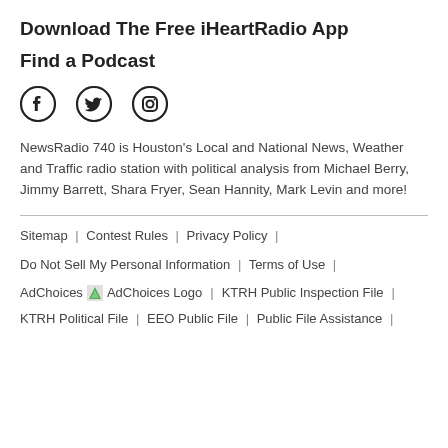Download The Free iHeartRadio App
Find a Podcast
[Figure (other): Social media icons: Facebook, Twitter, Instagram]
NewsRadio 740 is Houston's Local and National News, Weather and Traffic radio station with political analysis from Michael Berry, Jimmy Barrett, Shara Fryer, Sean Hannity, Mark Levin and more!
Sitemap | Contest Rules | Privacy Policy |
Do Not Sell My Personal Information | Terms of Use |
AdChoices [AdChoices Logo] | KTRH Public Inspection File |
KTRH Political File | EEO Public File | Public File Assistance |